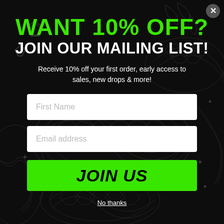WANT 10% OFF?
JOIN OUR MAILING LIST!
Receive 10% off your first order, early access to sales, new drops & more!
First Name
Email address
JOIN US
No thanks